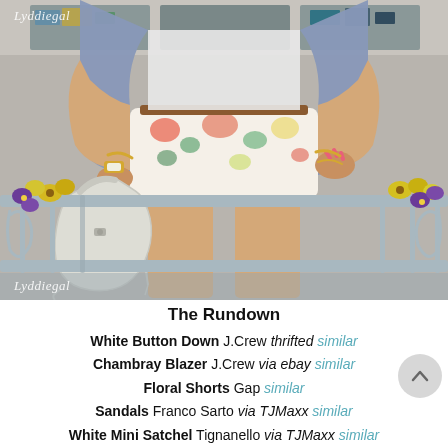[Figure (photo): Fashion blog photo showing a woman from waist down wearing floral shorts, a chambray blazer, holding a white mini satchel bag, standing near an ornate blue-green iron railing with yellow and purple flowers. Watermark 'Lyddiegal' visible top-left and bottom-left.]
The Rundown
White Button Down J.Crew thrifted similar
Chambray Blazer J.Crew via ebay similar
Floral Shorts Gap similar
Sandals Franco Sarto via TJMaxx similar
White Mini Satchel Tignanello via TJMaxx similar